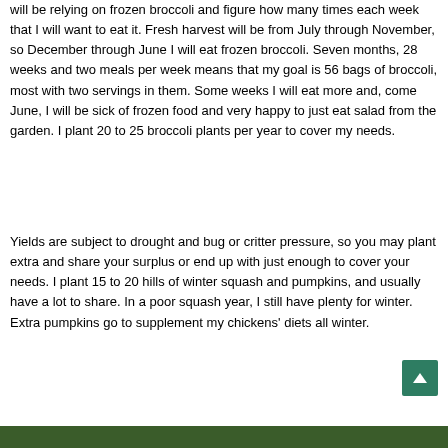will be relying on frozen broccoli and figure how many times each week that I will want to eat it. Fresh harvest will be from July through November, so December through June I will eat frozen broccoli. Seven months, 28 weeks and two meals per week means that my goal is 56 bags of broccoli, most with two servings in them. Some weeks I will eat more and, come June, I will be sick of frozen food and very happy to just eat salad from the garden. I plant 20 to 25 broccoli plants per year to cover my needs.
Yields are subject to drought and bug or critter pressure, so you may plant extra and share your surplus or end up with just enough to cover your needs. I plant 15 to 20 hills of winter squash and pumpkins, and usually have a lot to share. In a poor squash year, I still have plenty for winter. Extra pumpkins go to supplement my chickens' diets all winter.
[Figure (photo): Dark green garden photo strip at the bottom of the page]